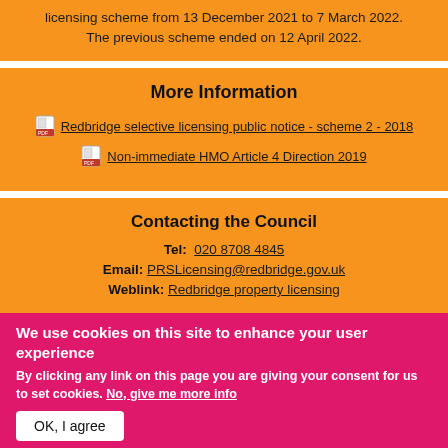licensing scheme from 13 December 2021 to 7 March 2022. The previous scheme ended on 12 April 2022.
More Information
Redbridge selective licensing public notice - scheme 2 - 2018
Non-immediate HMO Article 4 Direction 2019
Contacting the Council
Tel: 020 8708 4845
Email: PRSLicensing@redbridge.gov.uk
Weblink: Redbridge property licensing
We use cookies on this site to enhance your user experience
By clicking any link on this page you are giving your consent for us to set cookies. No, give me more info
OK, I agree